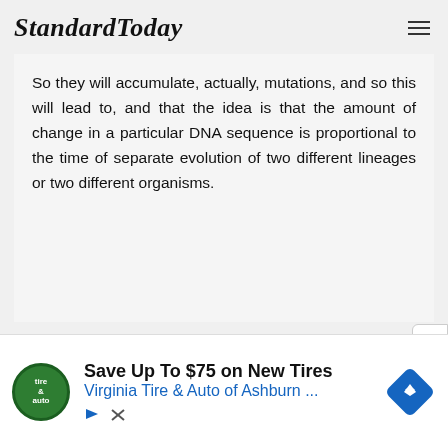StandardToday
So they will accumulate, actually, mutations, and so this will lead to, and that the idea is that the amount of change in a particular DNA sequence is proportional to the time of separate evolution of two different lineages or two different organisms.
[Figure (infographic): Advertisement banner: Save Up To $75 on New Tires — Virginia Tire & Auto of Ashburn ... with tire & auto logo icon and blue diamond navigation icon]